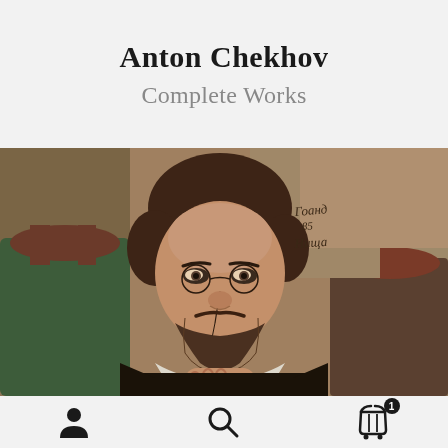Anton Chekhov
Complete Works
[Figure (illustration): Oil painting portrait of Anton Chekhov, a bearded man with pince-nez glasses, wearing a dark suit with white collar, resting his chin on his hand, seated in a dark ornate chair with green upholstery. Signature/inscription visible in upper right in Cyrillic. Warm earthy tones — browns, ochres, and dark greens.]
[Figure (infographic): App bottom navigation bar with three icons: person/account icon on left, magnifying glass/search icon in center, and shopping basket/cart icon with badge showing '1' on the right.]